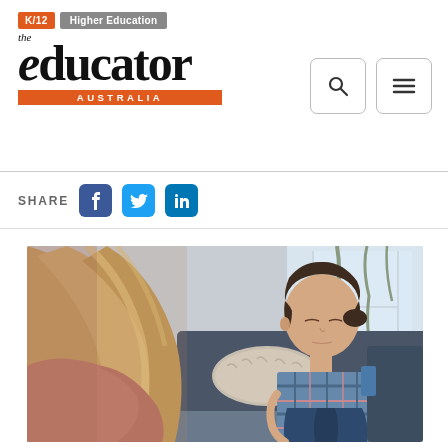K/12 | Higher Education — The Educator Australia
[Figure (screenshot): Website header of The Educator Australia with K/12 and Higher Education navigation tags, logo, search and menu buttons]
SHARE
[Figure (photo): A woman with blonde hair seen from behind talking to a young girl in a plaid shirt who is looking down, sitting on a couch in what appears to be a counseling or conversation setting]